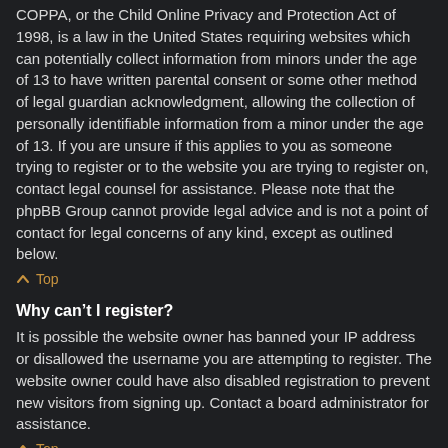COPPA, or the Child Online Privacy and Protection Act of 1998, is a law in the United States requiring websites which can potentially collect information from minors under the age of 13 to have written parental consent or some other method of legal guardian acknowledgment, allowing the collection of personally identifiable information from a minor under the age of 13. If you are unsure if this applies to you as someone trying to register or to the website you are trying to register on, contact legal counsel for assistance. Please note that the phpBB Group cannot provide legal advice and is not a point of contact for legal concerns of any kind, except as outlined below.
^ Top
Why can't I register?
It is possible the website owner has banned your IP address or disallowed the username you are attempting to register. The website owner could have also disabled registration to prevent new visitors from signing up. Contact a board administrator for assistance.
^ Top
What does the “Delete all board cookies” do?